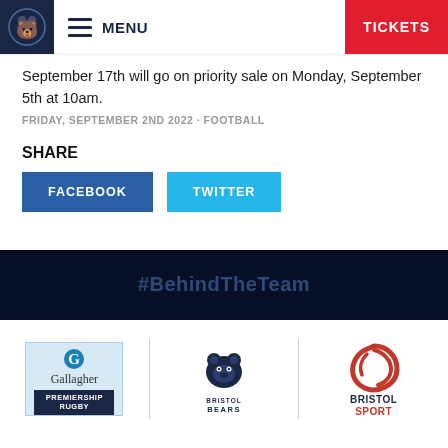MENU | TICKETS
September 17th will go on priority sale on Monday, September 5th at 10am.
FRIDAY, SEPTEMBER 2ND 2022 • FOOTBALL
SHARE
FACEBOOK  TWITTER
#BehindTheTeam
[Figure (logo): Gallagher Premiership Rugby logo]
[Figure (logo): Bristol Bears logo]
[Figure (logo): Bristol Sport logo]